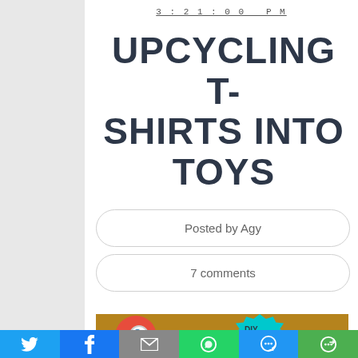3:21:00 PM
UPCYCLING T-SHIRTS INTO TOYS
Posted by Agy
7 comments
BOYS CAN SEW / KIDS DIY / TUTORIAL / UPCYCLING
[Figure (photo): Photo showing crafted toys from t-shirts with red round toy and teal flower shape with DIY text]
[Figure (infographic): Social sharing bar with Twitter, Facebook, Email, WhatsApp, SMS, and More buttons]